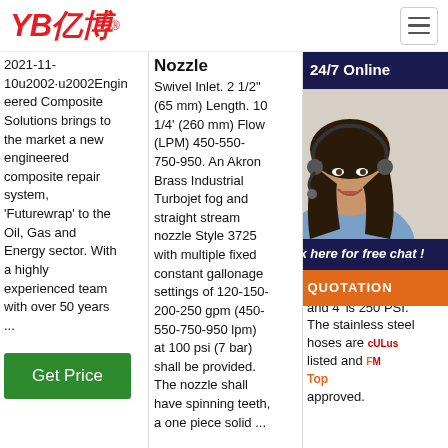YB亿博® [logo] | hamburger menu
2021-11-10u2002·u2002Engineered Composite Solutions brings to the market a new engineered composite repair system, 'Futurewrap' to the Oil, Gas and Energy sector. With a highly experienced team with over 50 years ...
Nozzle
Swivel Inlet. 2 1/2" (65 mm) Length. 10 1/4' (260 mm) Flow (LPM) 450-550-750-950. An Akron Brass Industrial Turbojet fog and straight stream nozzle Style 3725 with multiple fixed constant gallonage settings of 120-150-200-250 gpm (450-550-750-950 lpm) at 100 psi (7 bar) shall be provided. The nozzle shall have spinning teeth, a one piece solid ...
Provide Flexibility For ...
202 13u Flex pro ava of 2 an 0 3' a rati and and 4' is 250 PSI. The stainless steel hoses are cULus listed and FM approved.
[Figure (photo): Customer service agent (woman with headset) with 24/7 Online overlay panel, Click here for free chat! text, and QUOTATION orange button]
Get Price